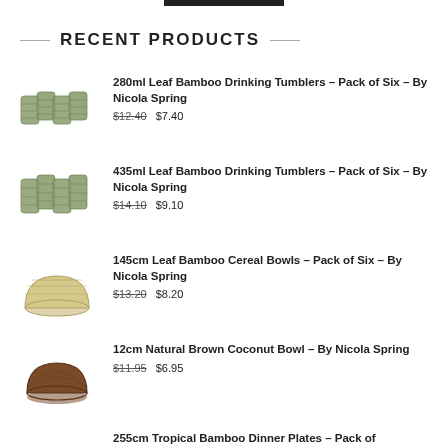RECENT PRODUCTS
280ml Leaf Bamboo Drinking Tumblers – Pack of Six – By Nicola Spring $12.40 $7.40
435ml Leaf Bamboo Drinking Tumblers – Pack of Six – By Nicola Spring $14.10 $9.10
145cm Leaf Bamboo Cereal Bowls – Pack of Six – By Nicola Spring $13.20 $8.20
12cm Natural Brown Coconut Bowl – By Nicola Spring $11.95 $6.95
255cm Tropical Bamboo Dinner Plates – Pack of